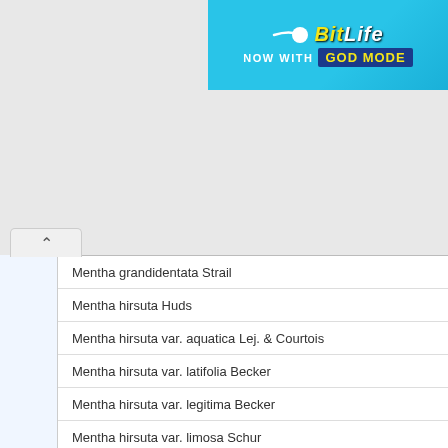[Figure (screenshot): BitLife advertisement banner with 'NOW WITH GOD MODE' text on blue background]
Mentha grandidentata Strail
Mentha hirsuta Huds
Mentha hirsuta var. aquatica Lej. & Courtois
Mentha hirsuta var. latifolia Becker
Mentha hirsuta var. legitima Becker
Mentha hirsuta var. limosa Schur
Mentha hirsuta var. lobeliana Becker
Mentha hirsuta var. origanoides (Ten.) Nyman
Mentha hirsuta var. purpurea Host ex Heinr.Braun
Mentha hirsuta var. riparia (Schreb.) Becker